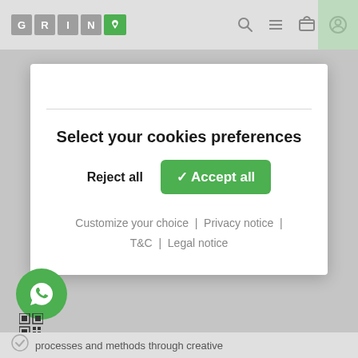[Figure (screenshot): GRIN website navigation bar with logo letters G, R, I, N and a green leaf icon, plus search, menu, cart, and account icons on the right]
Select your cookies preferences
Reject all   ✓ Accept all
Customize your choice | Privacy notice | T&C | Legal notice
[Figure (logo): WhatsApp button icon (green circle with phone receiver symbol)]
[Figure (other): Small QR code icon]
processes and methods through creative